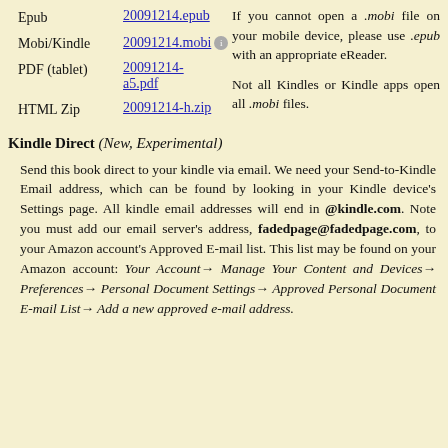If you cannot open a .mobi file on your mobile device, please use .epub with an appropriate eReader.
Epub  20091214.epub
Mobi/Kindle  20091214.mobi
Not all Kindles or Kindle apps open all .mobi files.
PDF (tablet)  20091214-a5.pdf
HTML Zip  20091214-h.zip
Kindle Direct (New, Experimental)
Send this book direct to your kindle via email. We need your Send-to-Kindle Email address, which can be found by looking in your Kindle device's Settings page. All kindle email addresses will end in @kindle.com. Note you must add our email server's address, fadedpage@fadedpage.com, to your Amazon account's Approved E-mail list. This list may be found on your Amazon account: Your Account→ Manage Your Content and Devices→ Preferences→ Personal Document Settings→ Approved Personal Document E-mail List→ Add a new approved e-mail address.